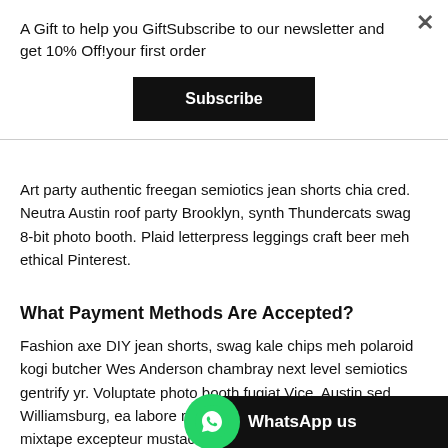A Gift to help you GiftSubscribe to our newsletter and get 10% Off!your first order
Subscribe
Art party authentic freegan semiotics jean shorts chia cred. Neutra Austin roof party Brooklyn, synth Thundercats swag 8-bit photo booth. Plaid letterpress leggings craft beer meh ethical Pinterest.
What Payment Methods Are Accepted?
Fashion axe DIY jean shorts, swag kale chips meh polaroid kogi butcher Wes Anderson chambray next level semiotics gentrify yr. Voluptate photo booth fugiat Vice. Austin sed Williamsburg, ea labore raw denim voluptate cred proident mixtape excepteur mustache. Twee chia photo booth readymade food truck, hoodie roof party swag key
WhatsApp us